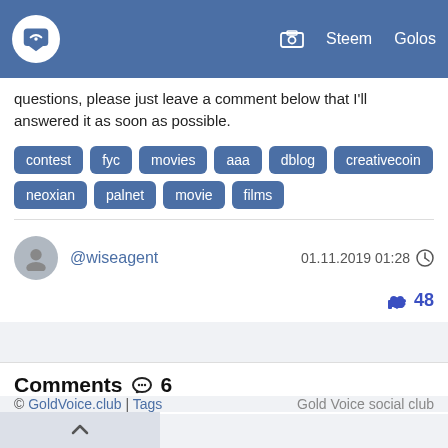GoldVoice chat icon | Steem | Golos
questions, please just leave a comment below that I'll answered it as soon as possible.
contest
fyc
movies
aaa
dblog
creativecoin
neoxian
palnet
movie
films
@wiseagent  01.11.2019 01:28
48
Comments 6
© GoldVoice.club | Tags   Gold Voice social club